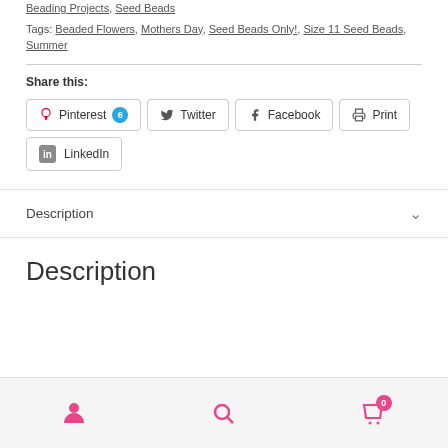Beading Projects, Seed Beads
Tags: Beaded Flowers, Mothers Day, Seed Beads Only!, Size 11 Seed Beads, Summer
Share this:
[Figure (screenshot): Social share buttons: Pinterest (6), Twitter, Facebook, Print, LinkedIn]
Description
Description
[Figure (screenshot): Bottom navigation bar with user icon, search icon, and cart icon with badge 0]